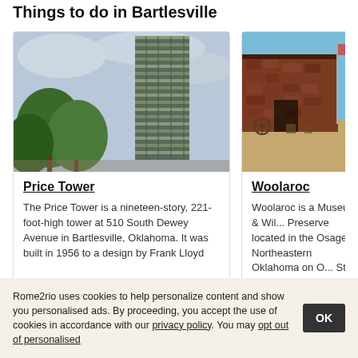Things to do in Bartlesville
[Figure (photo): Tall modern glass and steel skyscraper building (Price Tower) with trees in foreground against cloudy sky]
Price Tower
The Price Tower is a nineteen-story, 221-foot-high tower at 510 South Dewey Avenue in Bartlesville, Oklahoma. It was built in 1956 to a design by Frank Lloyd
[Figure (photo): Woolaroc museum building exterior, brick/stone structure with flagpole and open sandy grounds, people visible]
Woolaroc
Woolaroc is a Museum & Wil... Preserve located in the Osag... Northeastern Oklahoma on O... State Highway 123 about 12 m...
Places to stay in Bartlesville
Rome2rio uses cookies to help personalize content and show you personalised ads. By proceeding, you accept the use of cookies in accordance with our privacy policy. You may opt out of personalised